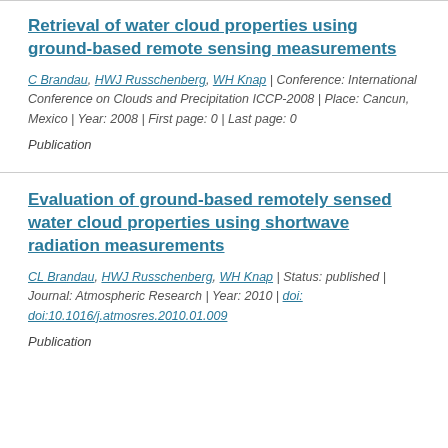Retrieval of water cloud properties using ground-based remote sensing measurements
C Brandau, HWJ Russchenberg, WH Knap | Conference: International Conference on Clouds and Precipitation ICCP-2008 | Place: Cancun, Mexico | Year: 2008 | First page: 0 | Last page: 0
Publication
Evaluation of ground-based remotely sensed water cloud properties using shortwave radiation measurements
CL Brandau, HWJ Russchenberg, WH Knap | Status: published | Journal: Atmospheric Research | Year: 2010 | doi: doi:10.1016/j.atmosres.2010.01.009
Publication